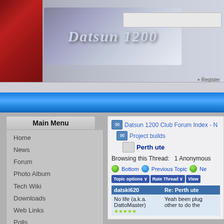[Figure (screenshot): Datsun 1200 Club forum website header banner with car image and logo]
[Figure (screenshot): Blue navigation bar]
Main Menu
Home
News
Forum
Photo Album
Tech Wiki
Downloads
Web Links
Polls
FAQ
Members Map
Login
Username:
Password:
Datsun 1200 Club Forum Index - N
Project builds
Perth ute
Browsing this Thread:   1 Anonymous
Bottom   Previous Topic   Ne
Topic options ∨   Rate Thread ∨   View
| datski620 | Re: Perth ute |
| --- | --- |
| No life (a.k.a. DattoMaster) ★★★★★ | Yeah been plug other to do the |